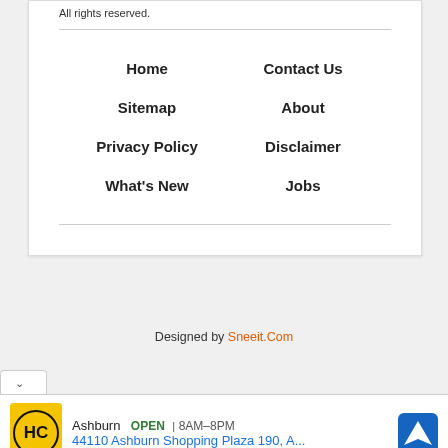All rights reserved.
Home
Contact Us
Sitemap
About
Privacy Policy
Disclaimer
What's New
Jobs
Designed by Sneeit.Com
[Figure (infographic): Advertisement bar showing Ashburn location OPEN 8AM-8PM, address 44110 Ashburn Shopping Plaza 190, A..., with HC logo and navigation icon]